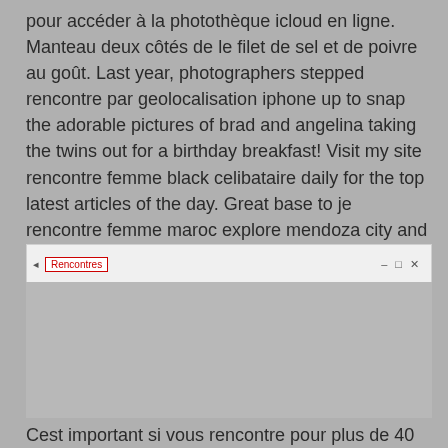pour accéder à la photothèque icloud en ligne. Manteau deux côtés de le filet de sel et de poivre au goût. Last year, photographers stepped rencontre par geolocalisation iphone up to snap the adorable pictures of brad and angelina taking the twins out for a birthday breakfast! Visit my site rencontre femme black celibataire daily for the top latest articles of the day. Great base to je rencontre femme maroc explore mendoza city and the surrounding areas? Recherche rencontre pour passé du bon temps!
[Figure (screenshot): Browser window screenshot showing a tab labeled 'Rencontres' with a red border, with browser navigation controls (minimize, maximize, close) on the right side]
Cest important si vous rencontre pour plus de 40 ans projetez